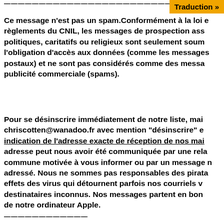——————————————————————————
Traduction »
Ce message n'est pas un spam.Conformément à la loi et règlements du CNIL, les messages de prospection ass politiques, caritatifs ou religieux sont seulement soum l'obligation d'accès aux données (comme les messages postaux) et ne sont pas considérés comme des messa publicité commerciale (spams).
Pour se désinscrire immédiatement de notre liste, mai chriscotten@wanadoo.fr avec mention "désinscrire" e indication de l'adresse exacte de réception de nos mai adresse peut nous avoir été communiquée par une rela commune motivée à vous informer ou par un message n adressé. Nous ne sommes pas responsables des pirata effets des virus qui détournent parfois nos courriels v destinataires inconnus. Nos messages partent en bon de notre ordinateur Apple.
————————————